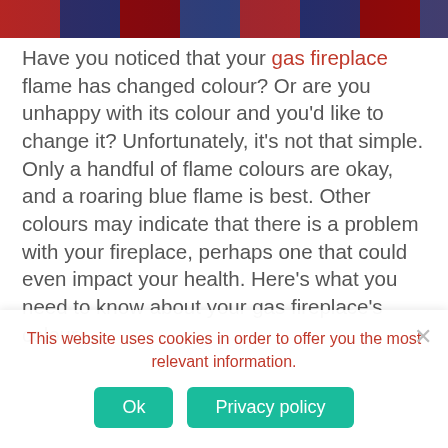[Figure (photo): Partial image at top of page showing what appears to be a fireplace scene with red and dark blue tones]
Have you noticed that your gas fireplace flame has changed colour? Or are you unhappy with its colour and you'd like to change it? Unfortunately, it's not that simple. Only a handful of flame colours are okay, and a roaring blue flame is best. Other colours may indicate that there is a problem with your fireplace, perhaps one that could even impact your health. Here's what you need to know about your gas fireplace's colour.
This website uses cookies in order to offer you the most relevant information.